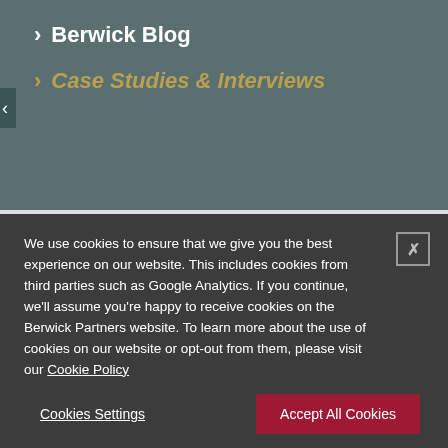> Berwick Blog
> Case Studies & Interviews
Filter by sectors & functions
All
We use cookies to ensure that we give you the best experience on our website. This includes cookies from third parties such as Google Analytics. If you continue, we'll assume you're happy to receive cookies on the Berwick Partners website. To learn more about the use of cookies on our website or opt-out from them, please visit our Cookie Policy
Cookies Settings
Accept All Cookies